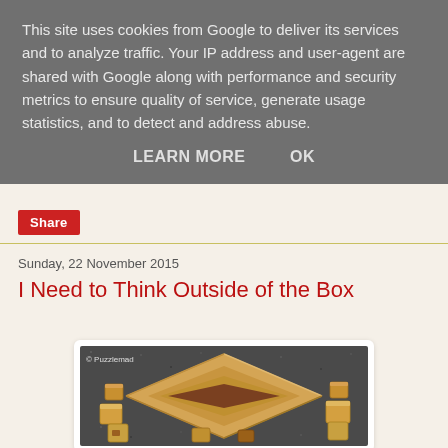This site uses cookies from Google to deliver its services and to analyze traffic. Your IP address and user-agent are shared with Google along with performance and security metrics to ensure quality of service, generate usage statistics, and to detect and address abuse.
LEARN MORE    OK
Share
Sunday, 22 November 2015
I Need to Think Outside of the Box
[Figure (photo): Wooden puzzle box photographed from above showing a square wooden frame box with darker inset panel, surrounded by small wooden block puzzle pieces on a dark speckled surface. Watermark reads '© Puzzlemad'.]